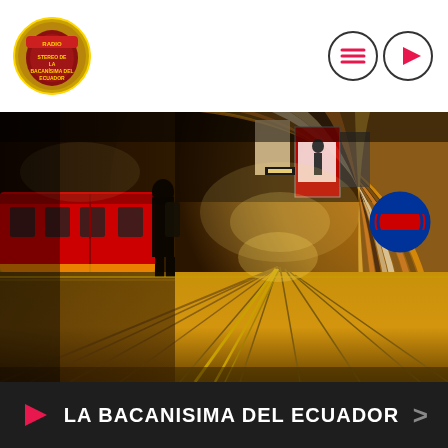[Figure (logo): Radio La Bacanísima del Ecuador logo — circular badge with yellow/red/blue colors and text]
[Figure (other): Navigation circles — hamburger menu icon and play button icon, outlined circles]
[Figure (photo): Low-angle photo of a London Underground tube station platform. Warm golden wooden platform floor in foreground with yellow lines, curved tunnel walls with orange and tan tiles, red and white London Underground roundel signs, colorful advertisement posters, a person standing in silhouette, and a red tube train on the left.]
LA BACANISIMA DEL ECUADOR